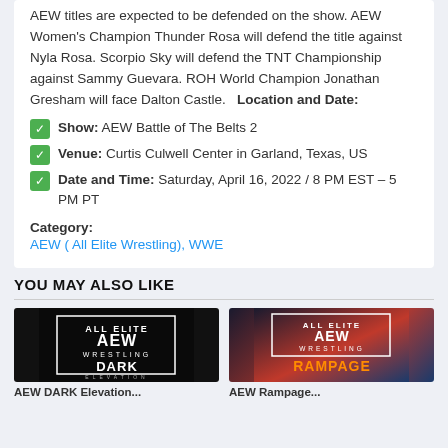AEW titles are expected to be defended on the show. AEW Women's Champion Thunder Rosa will defend the title against Nyla Rosa. Scorpio Sky will defend the TNT Championship against Sammy Guevara. ROH World Champion Jonathan Gresham will face Dalton Castle.  Location and Date:
Show: AEW Battle of The Belts 2
Venue: Curtis Culwell Center in Garland, Texas, US
Date and Time: Saturday, April 16, 2022 / 8 PM EST – 5 PM PT
Category:
AEW ( All Elite Wrestling), WWE
YOU MAY ALSO LIKE
[Figure (photo): AEW Dark Elevation logo on dark background]
[Figure (photo): AEW Rampage logo on blue/red background]
AEW DARK Elevation
AEW Rampage...